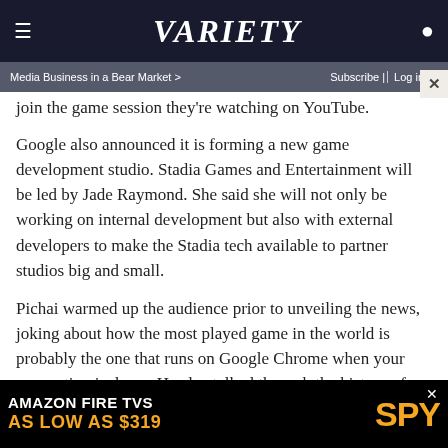VARIETY | Media Business in a Bear Market > | Subscribe | Log in
join the game session they're watching on YouTube.
Google also announced it is forming a new game development studio. Stadia Games and Entertainment will be led by Jade Raymond. She said she will not only be working on internal development but also with external developers to make the Stadia tech available to partner studios big and small.
Pichai warmed up the audience prior to unveiling the news, joking about how the most played game in the world is probably the one that runs on Google Chrome when your connection is down. He also talked through the history of Google's work on a variety of gaming technologies and the importance of gaming to technology, which he says pushes
[Figure (infographic): Advertisement banner: AMAZON FIRE TVS AS LOW AS $319 SPY]